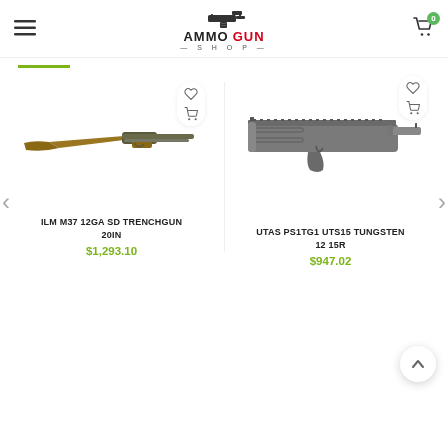AMMO GUN SHOP — website header with logo, hamburger menu, and cart icon
[Figure (screenshot): Product listing page from AmmoGunShop.com showing two shotgun products side by side with wishlist and add-to-cart icons, navigation arrows, product names, and prices.]
ILM M37 12GA SD TRENCHGUN 20IN
$1,293.10
UTAS PS1TG1 UTS15 TUNGSTEN 12 15R
$947.02